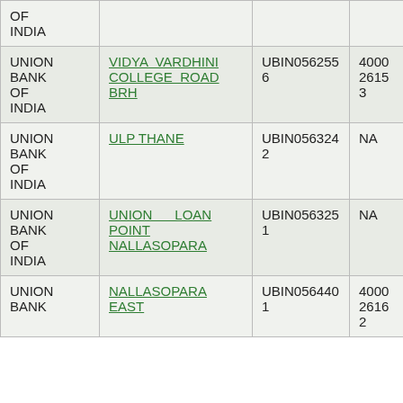| Bank Name | Branch | IFSC | MICR |
| --- | --- | --- | --- |
| UNION BANK OF INDIA | (partial - top cut off) |  |  |
| UNION BANK OF INDIA | VIDYA VARDHINI COLLEGE ROAD BRH | UBIN0562556 | 400026153 |
| UNION BANK OF INDIA | ULP THANE | UBIN0563242 | NA |
| UNION BANK OF INDIA | UNION LOAN POINT NALLASOPARA | UBIN0563251 | NA |
| UNION BANK OF INDIA | NALLASOPARA EAST | UBIN0564401 | 400026162 |